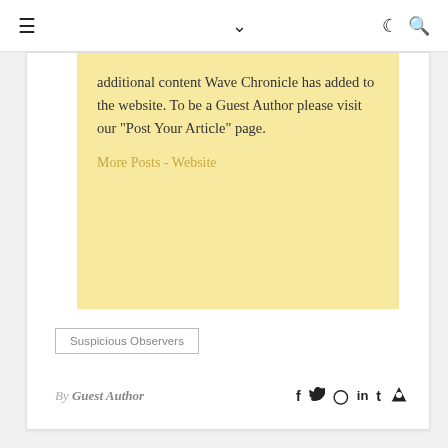≡  ∨  ☾ 🔍
additional content Wave Chronicle has added to the website. To be a Guest Author please visit our "Post Your Article" page.
More Posts - Website
Suspicious Observers
By Guest Author